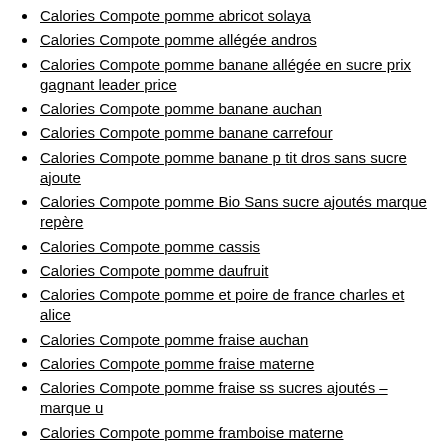Calories Compote pomme abricot solaya
Calories Compote pomme allégée andros
Calories Compote pomme banane allégée en sucre prix gagnant leader price
Calories Compote pomme banane auchan
Calories Compote pomme banane carrefour
Calories Compote pomme banane p tit dros sans sucre ajoute
Calories Compote pomme Bio Sans sucre ajoutés marque repère
Calories Compote pomme cassis
Calories Compote pomme daufruit
Calories Compote pomme et poire de france charles et alice
Calories Compote pomme fraise auchan
Calories Compote pomme fraise materne
Calories Compote pomme fraise ss sucres ajoutés – marque u
Calories Compote pomme framboise materne
Calories Compote pomme framboise ss sucres ajoutés – marque u
Calories Compote pomme framboise SSA Taillefine
Calories Compote pomme mangue en morceaux Super U